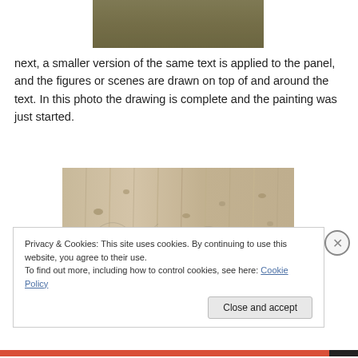[Figure (photo): A dark olive/brown painted panel surface, photographed from above.]
next, a smaller version of the same text is applied to the panel, and the figures or scenes are drawn on top of and around the text. In this photo the drawing is complete and the painting was just started.
[Figure (photo): A light-colored wooden panel with visible wood grain and knots, showing pencil drawing in progress.]
Privacy & Cookies: This site uses cookies. By continuing to use this website, you agree to their use.
To find out more, including how to control cookies, see here: Cookie Policy